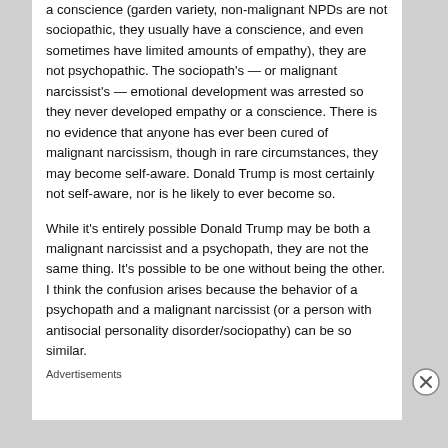a conscience  (garden variety, non-malignant NPDs are not sociopathic, they usually have a conscience, and even sometimes have limited amounts of empathy), they are not psychopathic.   The sociopath's — or malignant narcissist's — emotional development was arrested so they never developed empathy or a conscience.   There is no evidence that anyone has ever been cured of malignant narcissism, though in rare circumstances, they may become self-aware.   Donald Trump is most certainly not self-aware, nor is he likely to ever become so.
While it's entirely possible Donald Trump may be both a malignant narcissist and a psychopath, they are not the same thing.  It's possible to be one without being the other.  I think the confusion arises because the behavior of a psychopath and a malignant narcissist (or a person with antisocial personality disorder/sociopathy) can be so similar.
Advertisements